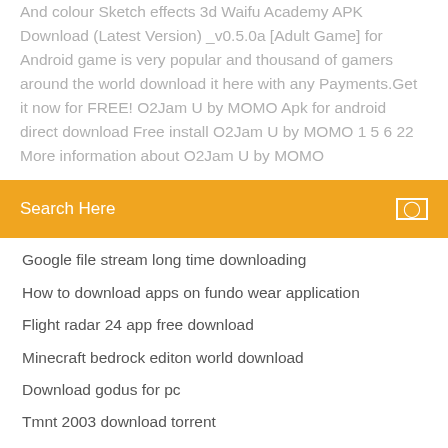And colour Sketch effects 3d Waifu Academy APK Download (Latest Version) _v0.5.0a [Adult Game] for Android game is very popular and thousand of gamers around the world download it here with any Payments.Get it now for FREE! O2Jam U by MOMO Apk for android direct download Free install O2Jam U by MOMO 1 5 6 22 More information about O2Jam U by MOMO
Search Here
Google file stream long time downloading
How to download apps on fundo wear application
Flight radar 24 app free download
Minecraft bedrock editon world download
Download godus for pc
Tmnt 2003 download torrent
Nvidia gtx compute driver download
Ipvanish free download torrent
Fefe download mp4 song
Figma plugin download file